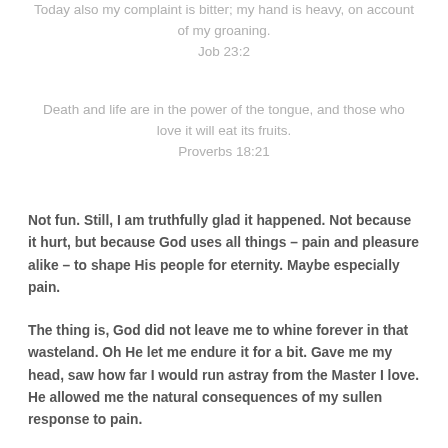Today also my complaint is bitter; my hand is heavy on account of my groaning.
Job 23:2
Death and life are in the power of the tongue, and those who love it will eat its fruits.
Proverbs 18:21
Not fun. Still, I am truthfully glad it happened. Not because it hurt, but because God uses all things – pain and pleasure alike – to shape His people for eternity. Maybe especially pain.
The thing is, God did not leave me to whine forever in that wasteland. Oh He let me endure it for a bit. Gave me my head, saw how far I would run astray from the Master I love. He allowed me the natural consequences of my sullen response to pain.